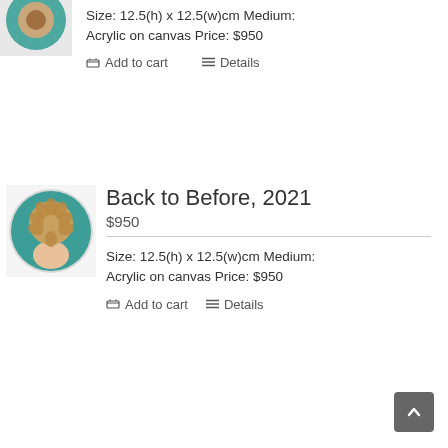[Figure (photo): Partial thumbnail of an artwork at top-left, cropped, showing a rounded painting with blue/teal background]
Size: 12.5(h) x 12.5(w)cm Medium: Acrylic on canvas Price: $950
Add to cart
Details
[Figure (photo): Round canvas painting showing back of a woman's head with braided bun, on teal background. Title: Back to Before, 2021]
Back to Before, 2021
$950
Size: 12.5(h) x 12.5(w)cm Medium: Acrylic on canvas Price: $950
Add to cart
Details